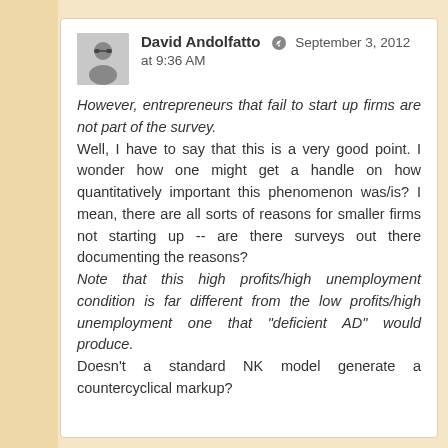David Andolfatto  September 3, 2012 at 9:36 AM
However, entrepreneurs that fail to start up firms are not part of the survey.
Well, I have to say that this is a very good point. I wonder how one might get a handle on how quantitatively important this phenomenon was/is? I mean, there are all sorts of reasons for smaller firms not starting up -- are there surveys out there documenting the reasons?
Note that this high profits/high unemployment condition is far different from the low profits/high unemployment one that "deficient AD" would produce.
Doesn't a standard NK model generate a countercyclical markup?